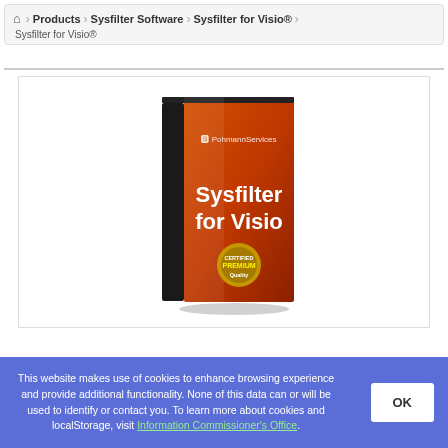Home > Products > Sysfilter Software > Sysfilter for Visio® | Sysfilter for Visio®
[Figure (photo): Software box for Sysfilter for Visio product by Pohmann Services, showing an orange gradient box with bold white text reading 'Sysfilter for Visio' and a premium quality badge at the bottom]
This website makes use of cookies to enhance browsing experience and provide additional functionality. None of this data can or will be used to identify or contact you. To learn more about cookies and localStorage, visit Information Commissioner's Office.